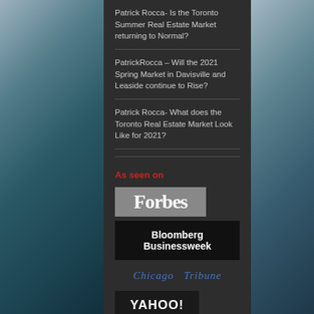Patrick Rocca- Is the Toronto Summer Real Estate Market returning to Normal?
PatrickRocca – Will the 2021 Spring Market in Davisville and Leaside continue to Rise?
Patrick Rocca- What does the Toronto Real Estate Market Look Like for 2021?
As seen on
[Figure (logo): Forbes logo - white text on gray background]
[Figure (logo): Bloomberg Businessweek logo - white text on black background]
[Figure (logo): Chicago Tribune logo - blue italic serif text]
[Figure (logo): Yahoo Homes logo - white text on dark background]